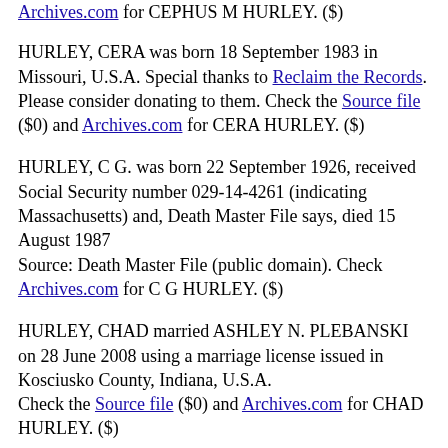Archives.com for CEPHUS M HURLEY. ($)
HURLEY, CERA was born 18 September 1983 in Missouri, U.S.A. Special thanks to Reclaim the Records. Please consider donating to them. Check the Source file ($0) and Archives.com for CERA HURLEY. ($)
HURLEY, C G. was born 22 September 1926, received Social Security number 029-14-4261 (indicating Massachusetts) and, Death Master File says, died 15 August 1987
Source: Death Master File (public domain). Check Archives.com for C G HURLEY. ($)
HURLEY, CHAD married ASHLEY N. PLEBANSKI on 28 June 2008 using a marriage license issued in Kosciusko County, Indiana, U.S.A. Check the Source file ($0) and Archives.com for CHAD HURLEY. ($)